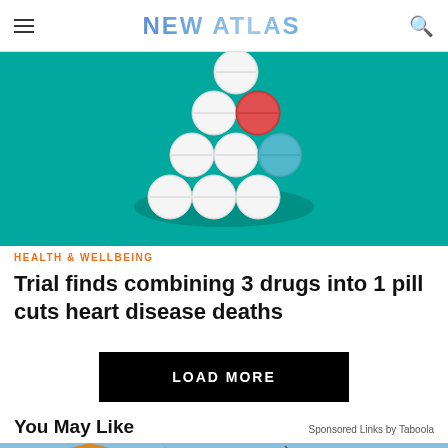NEW ATLAS
[Figure (photo): Pills arranged on a teal background, including white and one red pill]
HEALTH & WELLBEING
Trial finds combining 3 drugs into 1 pill cuts heart disease deaths
LOAD MORE
You May Like
Sponsored Links by Taboola
[Figure (photo): A house with bare trees against a blue sky]